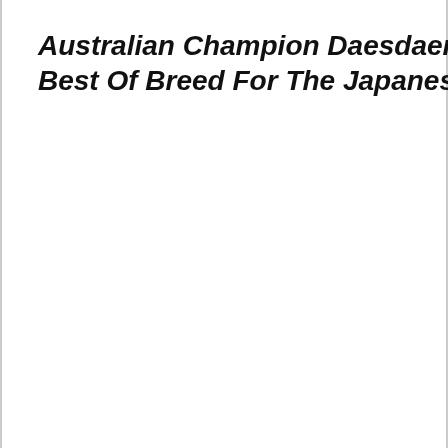Australian Champion Daesdaemar Dre... Best Of Breed For The Japanese Spitz